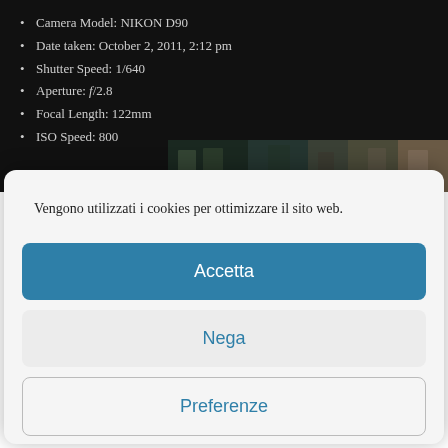Camera Model: NIKON D90
Date taken: October 2, 2011, 2:12 pm
Shutter Speed: 1/640
Aperture: f/2.8
Focal Length: 122mm
ISO Speed: 800
[Figure (photo): Photo strip showing people walking outdoors, visible from waist down, one carrying a bag]
Vengono utilizzati i cookies per ottimizzare il sito web.
Accetta
Nega
Preferenze
Cookie Policy  Privacy Policy